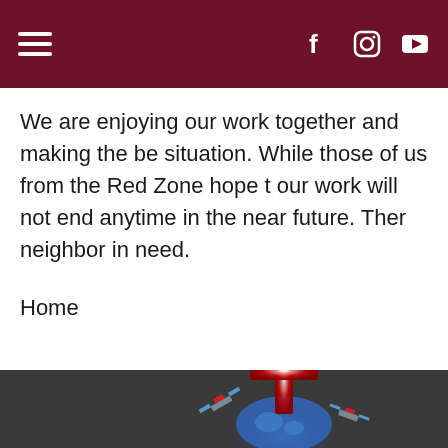Navigation header with hamburger menu and social icons (Facebook, Instagram, YouTube)
We are enjoying our work together and making the be situation. While those of us from the Red Zone hope t our work will not end anytime in the near future. Ther neighbor in need.
Home
[Figure (logo): Dark footer with a religious logo: a red glowing cross above a globe with satellites orbiting it]